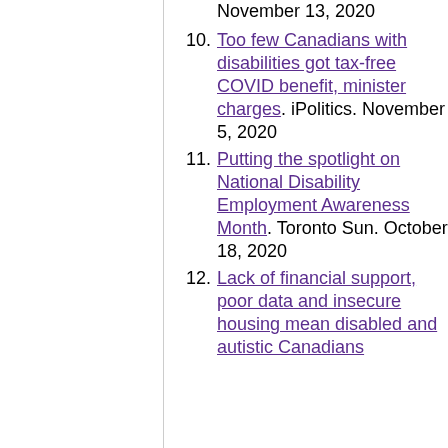November 13, 2020
Too few Canadians with disabilities got tax-free COVID benefit, minister charges. iPolitics. November 5, 2020
Putting the spotlight on National Disability Employment Awareness Month. Toronto Sun. October 18, 2020
Lack of financial support, poor data and insecure housing mean disabled and autistic Canadians